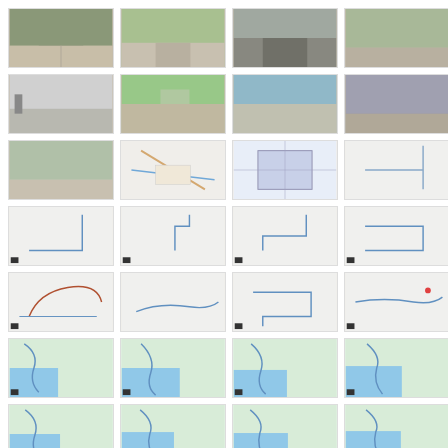[Figure (photo): Grid of 28 thumbnail images showing road/landscape photos (rows 1-3) and maps (rows 4-7), arranged in 4 columns]